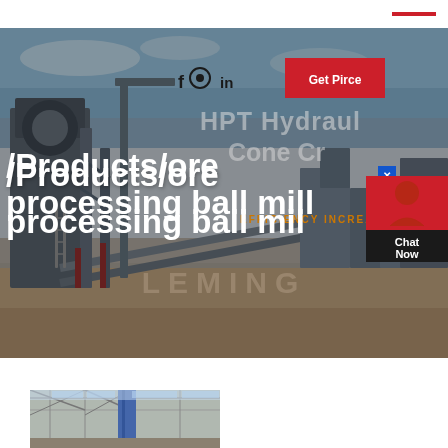[Figure (photo): Industrial ore processing facility with large conveyor belts, cranes, and heavy processing equipment under a blue sky. The hero image spans the top portion of the page.]
/Products/ore processing ball mill
HPT Hydraulic Cone Crusher
EFFICIENCY INCREA
Get Pirce
Chat Now
LEMING
[Figure (photo): Interior of an industrial facility showing structural steel framework and equipment, partial view at bottom of page.]